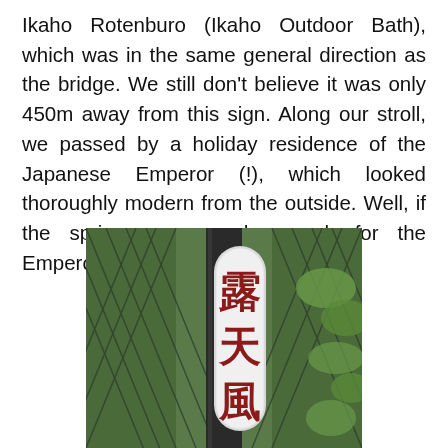Ikaho Rotenburo (Ikaho Outdoor Bath), which was in the same general direction as the bridge. We still don't believe it was only 450m away from this sign. Along our stroll, we passed by a holiday residence of the Japanese Emperor (!), which looked thoroughly modern from the outside. Well, if the springs are good enough for the Emperor, they're good enough for us.
[Figure (photo): A Japanese sign post with red kanji characters (露天風 visible) on a white/silver rounded rectangular sign, mounted on a dark metal post, with a chain-link fence and green foliage in the background.]